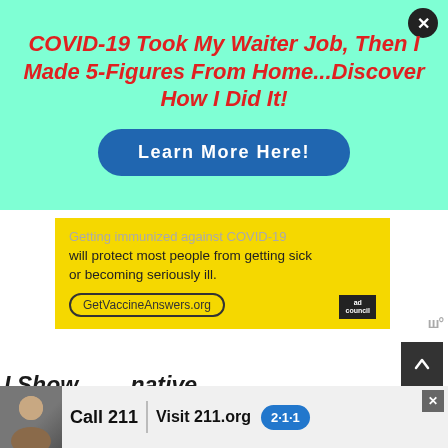COVID-19 Took My Waiter Job, Then I Made 5-Figures From Home...Discover How I Did It!
Learn More Here!
Getting immunized against COVID-19 will protect most people from getting sick or becoming seriously ill.
GetVaccineAnswers.org
Call 211 | Visit 211.org